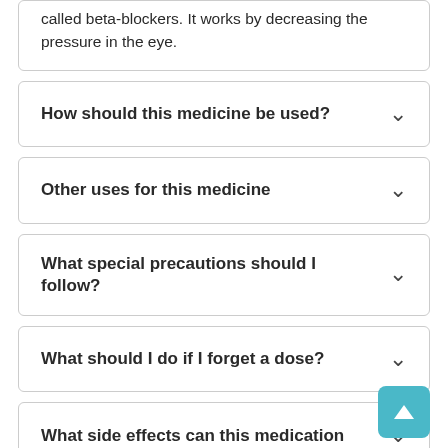called beta-blockers. It works by decreasing the pressure in the eye.
How should this medicine be used?
Other uses for this medicine
What special precautions should I follow?
What should I do if I forget a dose?
What side effects can this medication